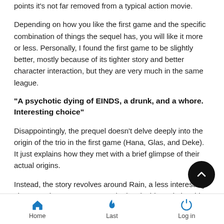points it's not far removed from a typical action movie.
Depending on how you like the first game and the specific combination of things the sequel has, you will like it more or less. Personally, I found the first game to be slightly better, mostly because of its tighter story and better character interaction, but they are very much in the same league.
"A psychotic dying of EINDS, a drunk, and a whore. Interesting choice"
Disappointingly, the prequel doesn't delve deeply into the origin of the trio in the first game (Hana, Glas, and Deke). It just explains how they met with a brief glimpse of their actual origins.
Instead, the story revolves around Rain, a less interesting character that may or may not be in a lesbian relationship wi...
Home   Last   Log in